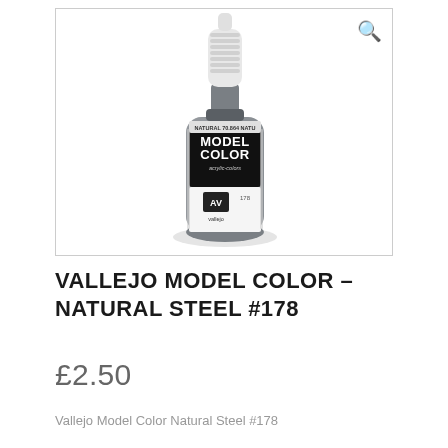[Figure (photo): Product photo of Vallejo Model Color acrylic paint bottle, Natural Steel #178 (70.864), grey paint bottle with white dropper cap, black label showing MODEL COLOR acrylic-colors text and AV Vallejo logo, number 178]
VALLEJO MODEL COLOR – NATURAL STEEL #178
£2.50
Vallejo Model Color Natural Steel #178